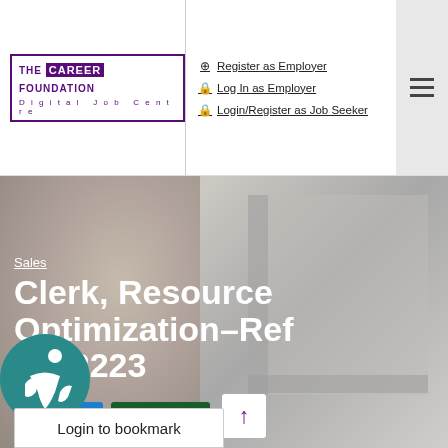[Figure (logo): The Career Foundation - Digital Job Centre logo]
Register as Employer | Log In as Employer | Login/Register as Job Seeker
[Figure (photo): Background photo of a person wearing glasses looking at something off-screen]
Sales
Clerk, Resource Optimization–Ref 0622223
Full Time   Permanent
Login to bookmark